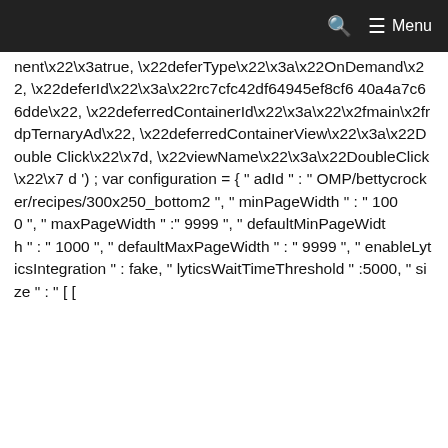Menu
nent\x22\x3atrue, \x22deferType\x22\x3a\x22OnDemand\x22, \x22deferId\x22\x3a\x22rc7cfc42df64945ef8cf640a4a7c66dde\x22, \x22deferredContainerId\x22\x3a\x22\x2fmain\x2frdpTernaryAd\x22, \x22deferredContainerView\x22\x3a\x22DoubleClick\x22\x7d, \x22viewName\x22\x3a\x22DoubleClick\x22\x7d ') ; var configuration = { " adId " : " OMP/bettycrocker/recipes/300x250_bottom2 ", " minPageWidth " : " 1000 ", " maxPageWidth " : " 9999 ", " defaultMinPageWidth " : " 1000 ", " defaultMaxPageWidth " : " 9999 "," enableLyticsIntegration " : fake, " lyticsWaitTimeThreshold " :5000, " size " : " [ [